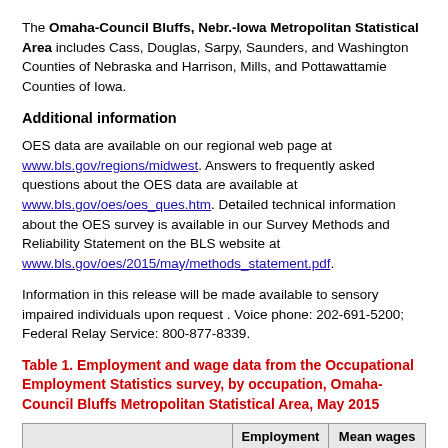The Omaha-Council Bluffs, Nebr.-Iowa Metropolitan Statistical Area includes Cass, Douglas, Sarpy, Saunders, and Washington Counties of Nebraska and Harrison, Mills, and Pottawattamie Counties of Iowa.
Additional information
OES data are available on our regional web page at www.bls.gov/regions/midwest. Answers to frequently asked questions about the OES data are available at www.bls.gov/oes/oes_ques.htm. Detailed technical information about the OES survey is available in our Survey Methods and Reliability Statement on the BLS website at www.bls.gov/oes/2015/may/methods_statement.pdf.
Information in this release will be made available to sensory impaired individuals upon request . Voice phone: 202-691-5200; Federal Relay Service: 800-877-8339.
Table 1. Employment and wage data from the Occupational Employment Statistics survey, by occupation, Omaha-Council Bluffs Metropolitan Statistical Area, May 2015
|  | Employment | Mean wages |
| --- | --- | --- |